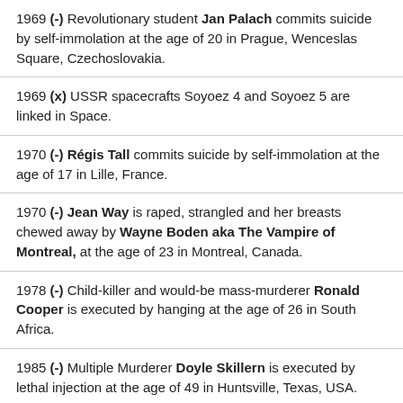1969 (-) Revolutionary student Jan Palach commits suicide by self-immolation at the age of 20 in Prague, Wenceslas Square, Czechoslovakia.
1969 (x) USSR spacecrafts Soyoez 4 and Soyoez 5 are linked in Space.
1970 (-) Régis Tall commits suicide by self-immolation at the age of 17 in Lille, France.
1970 (-) Jean Way is raped, strangled and her breasts chewed away by Wayne Boden aka The Vampire of Montreal, at the age of 23 in Montreal, Canada.
1978 (-) Child-killer and would-be mass-murderer Ronald Cooper is executed by hanging at the age of 26 in South Africa.
1985 (-) Multiple Murderer Doyle Skillern is executed by lethal injection at the age of 49 in Huntsville, Texas, USA.
1988 (-) James Doxtator is strangled and cut to pieces by Jeffrey Dahmer aka The Milwaukee Cannibal, at the age...